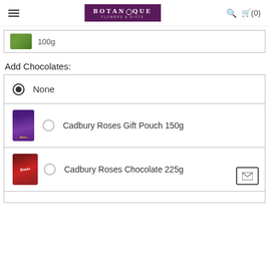[Figure (logo): Botanique Flowers & Gifts logo with purple background]
[Figure (photo): Partial product image showing green item, 100g]
Add Chocolates:
None (selected radio button)
Cadbury Roses Gift Pouch 150g
Cadbury Roses Chocolate 225g